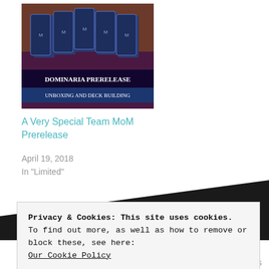[Figure (photo): Thumbnail image of Magic the Gathering booster packs on a table with text overlay reading 'Dominaria Prerelease Unboxing and Deck Building']
A Very Special Team MoM Prerelease
April 19, 2018
In "Limited"
Tagged Guilds of Ravnica, Magic the Gathering, prerelease, Sealed, trading cards, wizards of the coast
Privacy & Cookies: This site uses cookies.
To find out more, as well as how to remove or block these, see here:
Our Cookie Policy
Close and accept
Leagues